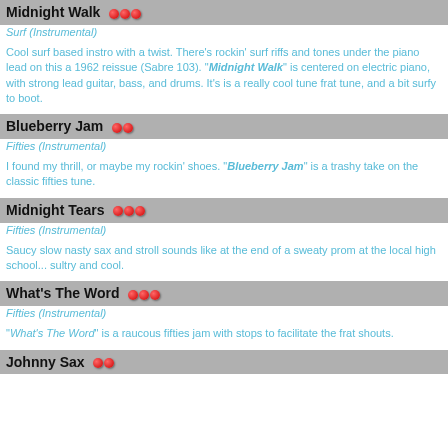Midnight Walk ●●●
Surf (Instrumental)
Cool surf based instro with a twist. There's rockin' surf riffs and tones under the piano lead on this a 1962 reissue (Sabre 103). "Midnight Walk" is centered on electric piano, with strong lead guitar, bass, and drums. It's is a really cool tune frat tune, and a bit surfy to boot.
Blueberry Jam ●●
Fifties (Instrumental)
I found my thrill, or maybe my rockin' shoes. "Blueberry Jam" is a trashy take on the classic fifties tune.
Midnight Tears ●●●
Fifties (Instrumental)
Saucy slow nasty sax and stroll sounds like at the end of a sweaty prom at the local high school... sultry and cool.
What's The Word ●●●
Fifties (Instrumental)
"What's The Word" is a raucous fifties jam with stops to facilitate the frat shouts.
Johnny Sax ●●